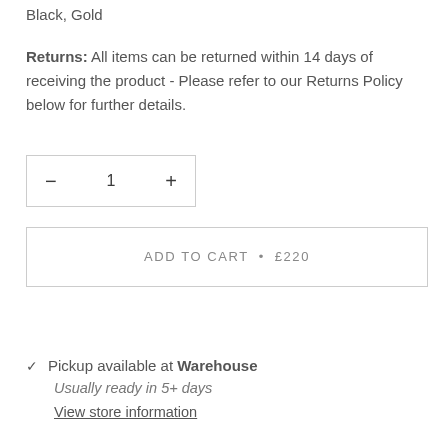Black, Gold
Returns: All items can be returned within 14 days of receiving the product - Please refer to our Returns Policy below for further details.
— 1 + (quantity selector)
ADD TO CART • £220
✓ Pickup available at Warehouse
Usually ready in 5+ days
View store information